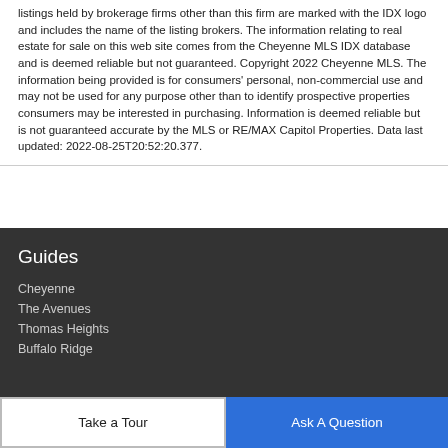listings held by brokerage firms other than this firm are marked with the IDX logo and includes the name of the listing brokers. The information relating to real estate for sale on this web site comes from the Cheyenne MLS IDX database and is deemed reliable but not guaranteed. Copyright 2022 Cheyenne MLS. The information being provided is for consumers' personal, non-commercial use and may not be used for any purpose other than to identify prospective properties consumers may be interested in purchasing. Information is deemed reliable but is not guaranteed accurate by the MLS or RE/MAX Capitol Properties. Data last updated: 2022-08-25T20:52:20.377.
Guides
Cheyenne
The Avenues
Thomas Heights
Buffalo Ridge